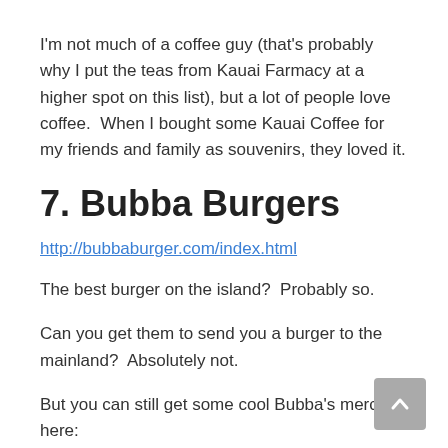I'm not much of a coffee guy (that's probably why I put the teas from Kauai Farmacy at a higher spot on this list), but a lot of people love coffee.  When I bought some Kauai Coffee for my friends and family as souvenirs, they loved it.
7. Bubba Burgers
http://bubbaburger.com/index.html
The best burger on the island?  Probably so.
Can you get them to send you a burger to the mainland?  Absolutely not.
But you can still get some cool Bubba's merch here: